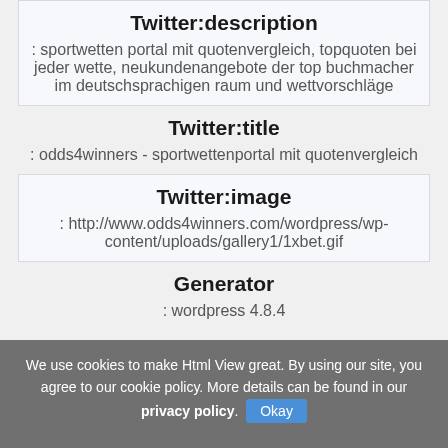Twitter:description
: sportwetten portal mit quotenvergleich, topquoten bei jeder wette, neukundenangebote der top buchmacher im deutschsprachigen raum und wettvorschläge
Twitter:title
: odds4winners - sportwettenportal mit quotenvergleich
Twitter:image
: http://www.odds4winners.com/wordpress/wp-content/uploads/gallery1/1xbet.gif
Generator
: wordpress 4.8.4
We use cookies to make Html View great. By using our site, you agree to our cookie policy. More details can be found in our privacy policy. Okay